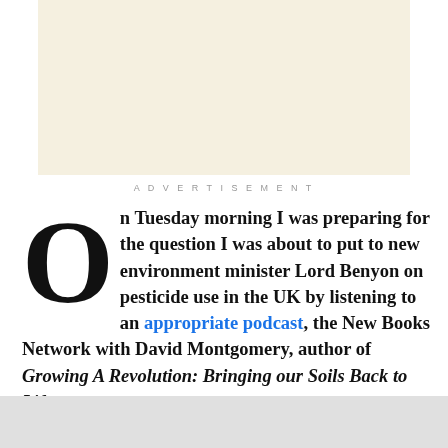[Figure (other): Advertisement placeholder box with cream/beige background]
ADVERTISEMENT
On Tuesday morning I was preparing for the question I was about to put to new environment minister Lord Benyon on pesticide use in the UK by listening to an appropriate podcast, the New Books Network with David Montgomery, author of Growing A Revolution: Bringing our Soils Back to Life.